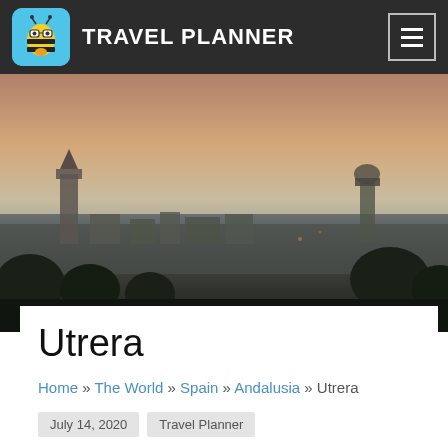TRAVEL PLANNER
[Figure (photo): Aerial dusk panorama of Utrera, Andalusia, Spain, showing rooftops, church towers and warm sunset sky]
Utrera
Home » The World » Spain » Andalusia » Utrera
July 14, 2020   Travel Planner
Info about Utrera, Andalusia